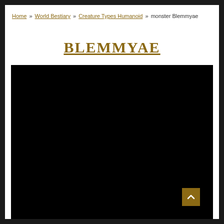Home » World Bestiary » Creature Types Humanoid » monster Blemmyae
BLEMMYAE
[Figure (photo): Large black image area representing a monster/creature illustration (content not visible — appears as solid black)]